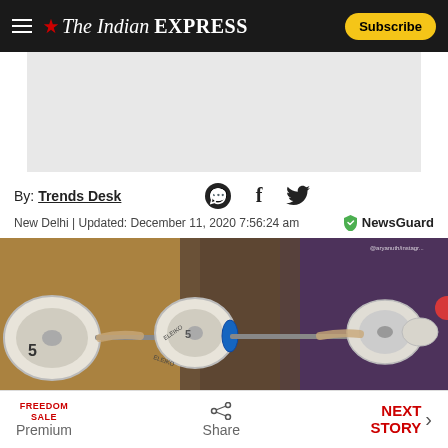The Indian EXPRESS — Subscribe
[Figure (other): Advertisement placeholder — light grey rectangle]
By: Trends Desk
New Delhi | Updated: December 11, 2020 7:56:24 am
[Figure (photo): Two weightlifters lifting barbells overhead — competition or training setting]
FREEDOM SALE Premium | Share | NEXT STORY